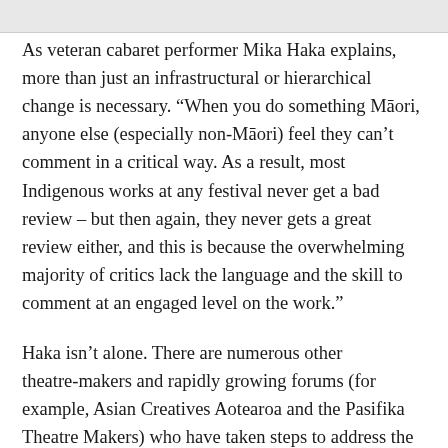As veteran cabaret performer Mika Haka explains, more than just an infrastructural or hierarchical change is necessary. “When you do something Māori, anyone else (especially non-Māori) feel they can’t comment in a critical way. As a result, most Indigenous works at any festival never get a bad review – but then again, they never gets a great review either, and this is because the overwhelming majority of critics lack the language and the skill to comment at an engaged level on the work.”
Haka isn’t alone. There are numerous other theatre-makers and rapidly growing forums (for example, Asian Creatives Aotearoa and the Pasifika Theatre Makers) who have taken steps to address the dominant arena of the theatre. There is